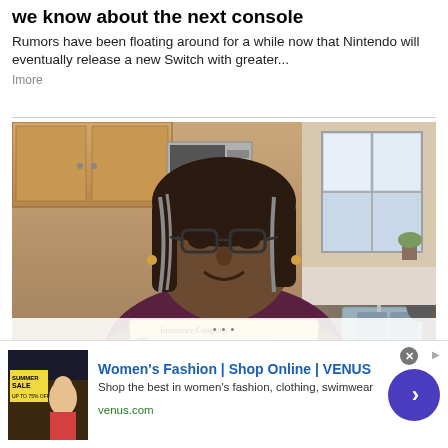we know about the next console
Rumors have been floating around for a while now that Nintendo will eventually release a new Switch with greater...
Imore
[Figure (photo): A woman wearing glasses holding up an insurance company check in a kitchen setting. She is smiling and holding the check with both hands toward the camera. The check reads 'Insurance Company' at the top.]
[Figure (other): Advertisement for Women's Fashion | Shop Online | VENUS. Text: Shop the best in women's fashion, clothing, swimwear. URL: venus.com. Features a circular blue arrow button and a fashion image on the left showing a Summer Sale promotion.]